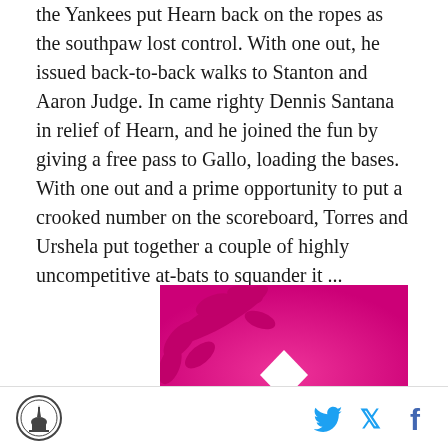the Yankees put Hearn back on the ropes as the southpaw lost control. With one out, he issued back-to-back walks to Stanton and Aaron Judge. In came righty Dennis Santana in relief of Hearn, and he joined the fun by giving a free pass to Gallo, loading the bases. With one out and a prime opportunity to put a crooked number on the scoreboard, Torres and Urshela put together a couple of highly uncompetitive at-bats to squander it ...
[Figure (photo): Pink/magenta background image with a white diamond shape in the center and decorative dark pink leaf/branch shapes in the upper left corner, partially visible crown/arch shapes at the bottom]
SB Nation logo | Twitter icon | Facebook icon